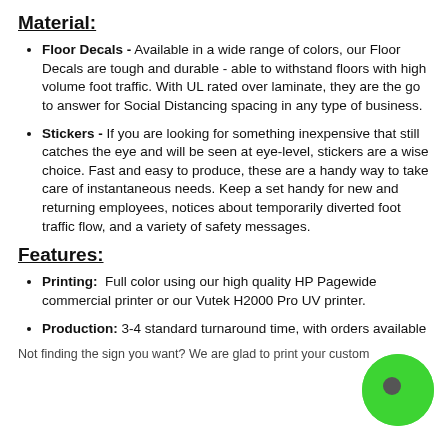Material:
Floor Decals - Available in a wide range of colors, our Floor Decals are tough and durable - able to withstand floors with high volume foot traffic.  With UL rated over laminate, they are the go to answer for Social Distancing spacing in any type of business.
Stickers - If you are looking for something inexpensive that still catches the eye and will be seen at eye-level, stickers are a wise choice. Fast and easy to produce, these are a handy way to take care of instantaneous needs. Keep a set handy for new and returning employees, notices about temporarily diverted foot traffic flow, and a variety of safety messages.
Features:
Printing:  Full color using our high quality HP Pagewide commercial printer or our Vutek H2000 Pro UV printer.
Production: 3-4 standard turnaround time, with orders available
Not finding the sign you want? We are glad to print your custom...